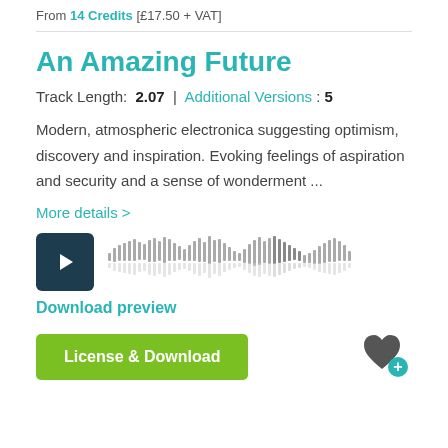From 14 Credits [£17.50 + VAT]
An Amazing Future
Track Length: 2.07 | Additional Versions : 5
Modern, atmospheric electronica suggesting optimism, discovery and inspiration. Evoking feelings of aspiration and security and a sense of wonderment ...
More details >
[Figure (other): Audio player with play button and waveform visualization]
Download preview
License & Download